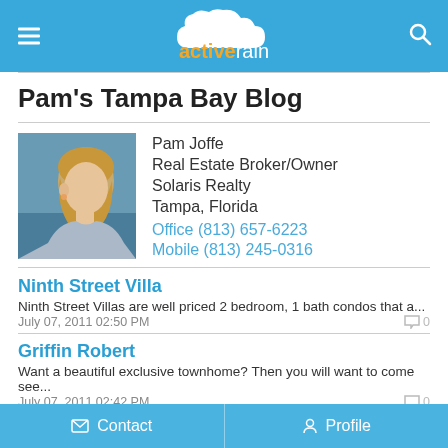activerain
Pam's Tampa Bay Blog
[Figure (photo): Profile photo of Pam Joffe, a woman with blonde hair shown from the side]
Pam Joffe
Real Estate Broker/Owner
Solaris Realty
Tampa, Florida
Office (813) 657-6223
Mobile (813) 245-0316
Ninth Street Villa
Ninth Street Villas are well priced 2 bedroom, 1 bath condos that a...
July 07, 2011 02:50 PM
Griffin Robert
Want a beautiful exclusive townhome? Then you will want to come see...
July 07, 2011 02:42 PM
Grove Park
Grove Park is located in the heart of Tampa.  Grove Park is a subdi...
Contact   Profile